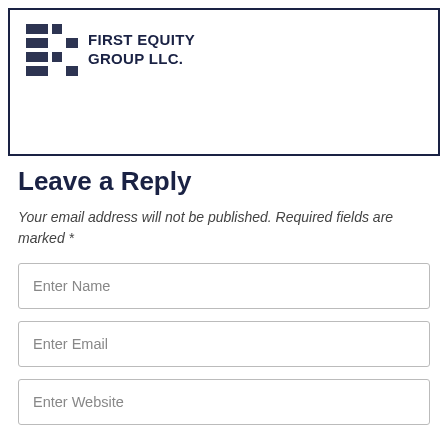[Figure (logo): First Equity Group LLC logo with stylized E icon and company name text]
Leave a Reply
Your email address will not be published. Required fields are marked *
Enter Name
Enter Email
Enter Website